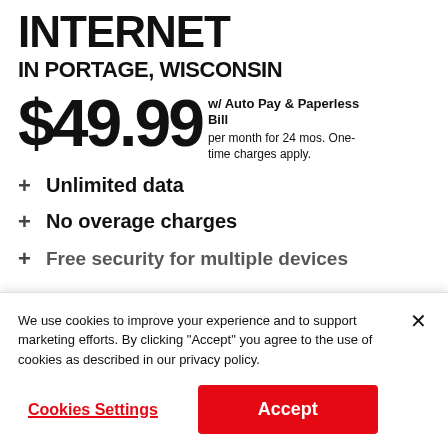INTERNET
IN PORTAGE, WISCONSIN
$49.99 w/ Auto Pay & Paperless Bill per month for 24 mos. One-time charges apply.
+ Unlimited data
+ No overage charges
+ Free security for multiple devices
We use cookies to improve your experience and to support marketing efforts. By clicking "Accept" you agree to the use of cookies as described in our privacy policy.
Cookies Settings
Accept